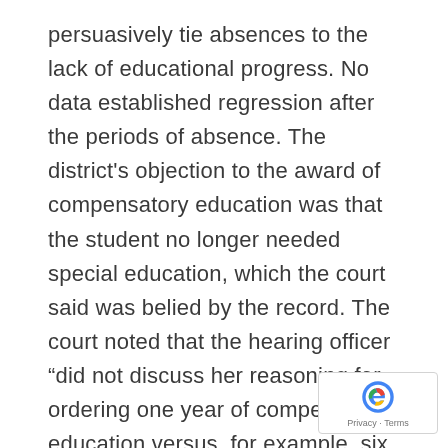persuasively tie absences to the lack of educational progress. No data established regression after the periods of absence. The district's objection to the award of compensatory education was that the student no longer needed special education, which the court said was belied by the record. The court noted that the hearing officer “did not discuss her reasoning for ordering one year of compensatory education versus, for example, six months of compensatory education. Yet, the District cites no authority suggesting that the [hearing officer] must engage in that type of